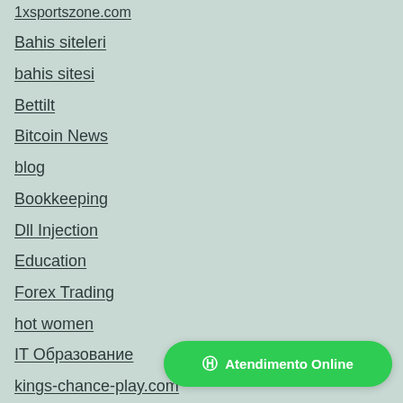1xsportszone.com
Bahis siteleri
bahis sitesi
Bettilt
Bitcoin News
blog
Bookkeeping
Dll Injection
Education
Forex Trading
hot women
IT Образование
kings-chance-play.com
leovegas-online.com
Atendimento Online